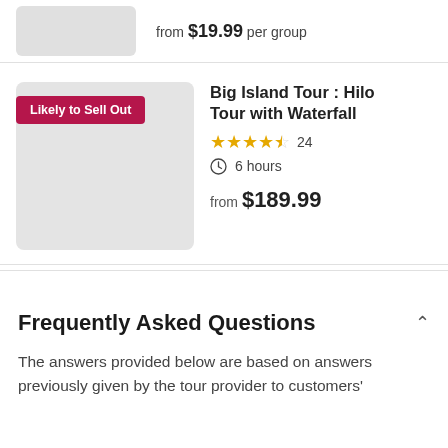from $19.99 per group
Big Island Tour : Hilo Tour with Waterfall
★★★★½ 24
6 hours
from $189.99
Frequently Asked Questions
The answers provided below are based on answers previously given by the tour provider to customers'